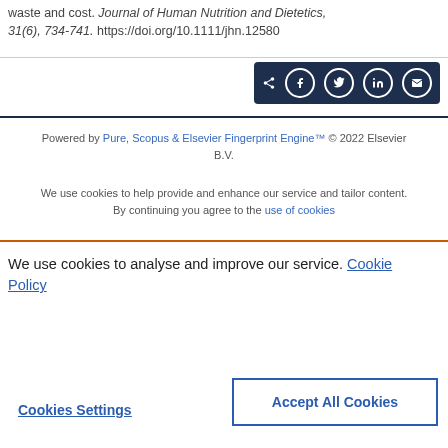waste and cost. Journal of Human Nutrition and Dietetics, 31(6), 734-741. https://doi.org/10.1111/jhn.12580
[Figure (other): Social share buttons bar (share, Facebook, Twitter, LinkedIn, email) on dark navy background]
Powered by Pure, Scopus & Elsevier Fingerprint Engine™ © 2022 Elsevier B.V.
We use cookies to help provide and enhance our service and tailor content. By continuing you agree to the use of cookies
We use cookies to analyse and improve our service. Cookie Policy
Cookies Settings
Accept All Cookies